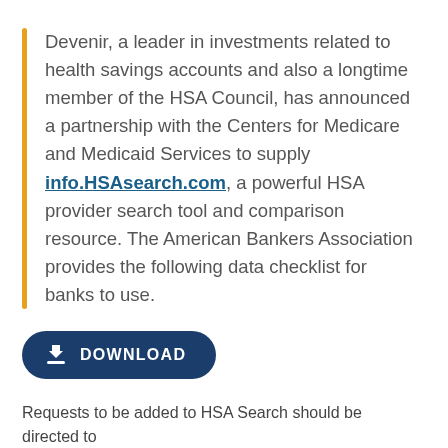Devenir, a leader in investments related to health savings accounts and also a longtime member of the HSA Council, has announced a partnership with the Centers for Medicare and Medicaid Services to supply info.HSAsearch.com, a powerful HSA provider search tool and comparison resource. The American Bankers Association provides the following data checklist for banks to use.
[Figure (other): Dark blue rounded rectangle download button with download icon and 'DOWNLOAD' text in white uppercase letters]
Requests to be added to HSA Search should be directed to